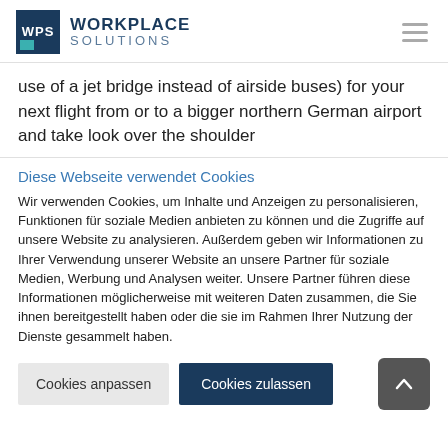WPS WORKPLACE SOLUTIONS
use of a jet bridge instead of airside buses) for your next flight from or to a bigger northern German airport and take look over the shoulder
Diese Webseite verwendet Cookies
Wir verwenden Cookies, um Inhalte und Anzeigen zu personalisieren, Funktionen für soziale Medien anbieten zu können und die Zugriffe auf unsere Website zu analysieren. Außerdem geben wir Informationen zu Ihrer Verwendung unserer Website an unsere Partner für soziale Medien, Werbung und Analysen weiter. Unsere Partner führen diese Informationen möglicherweise mit weiteren Daten zusammen, die Sie ihnen bereitgestellt haben oder die sie im Rahmen Ihrer Nutzung der Dienste gesammelt haben.
Cookies anpassen | Cookies zulassen